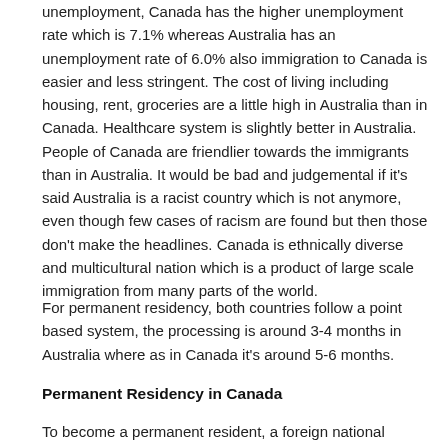unemployment, Canada has the higher unemployment rate which is 7.1% whereas Australia has an unemployment rate of 6.0% also immigration to Canada is easier and less stringent. The cost of living including housing, rent, groceries are a little high in Australia than in Canada. Healthcare system is slightly better in Australia. People of Canada are friendlier towards the immigrants than in Australia. It would be bad and judgemental if it's said Australia is a racist country which is not anymore, even though few cases of racism are found but then those don't make the headlines. Canada is ethnically diverse and multicultural nation which is a product of large scale immigration from many parts of the world.
For permanent residency, both countries follow a point based system, the processing is around 3-4 months in Australia where as in Canada it's around 5-6 months.
Permanent Residency in Canada
To become a permanent resident, a foreign national